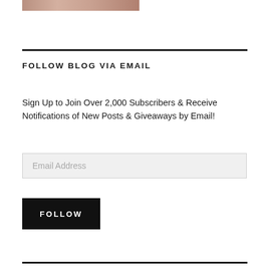[Figure (photo): Partial cropped photo strip at top of page, showing a colorful scene]
FOLLOW BLOG VIA EMAIL
Sign Up to Join Over 2,000 Subscribers & Receive Notifications of New Posts & Giveaways by Email!
Email Address
FOLLOW